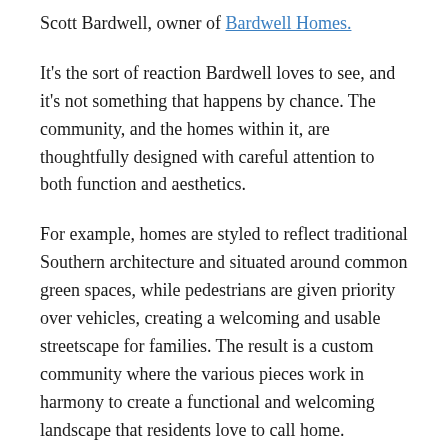Scott Bardwell, owner of Bardwell Homes.
It’s the sort of reaction Bardwell loves to see, and it’s not something that happens by chance. The community, and the homes within it, are thoughtfully designed with careful attention to both function and aesthetics.
For example, homes are styled to reflect traditional Southern architecture and situated around common green spaces, while pedestrians are given priority over vehicles, creating a welcoming and usable streetscape for families. The result is a custom community where the various pieces work in harmony to create a functional and welcoming landscape that residents love to call home.
“As a builder, details matter. There are a lot of things that